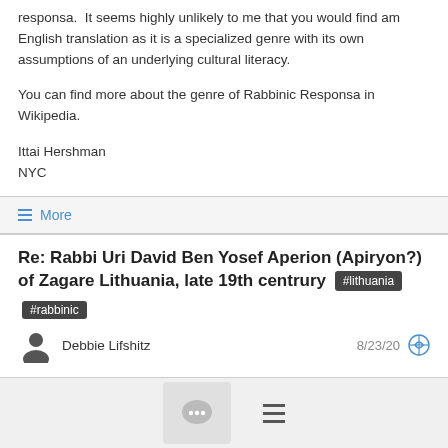responsa. It seems highly unlikely to me that you would find am English translation as it is a specialized genre with its own assumptions of an underlying cultural literacy.
You can find more about the genre of Rabbinic Responsa in Wikipedia.
Ittai Hershman
NYC
≡ More
Re: Rabbi Uri David Ben Yosef Aperion (Apiryon?) of Zagare Lithuania, late 19th centrury #lithuania #rabbinic
Debbie Lifshitz   8/23/20